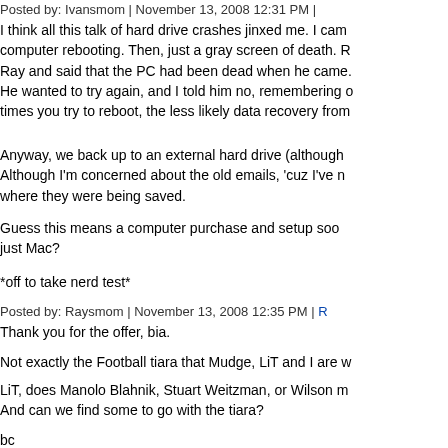Posted by: Ivansmom | November 13, 2008 12:31 PM |
I think all this talk of hard drive crashes jinxed me. I came home to find the computer rebooting. Then, just a gray screen of death. Ray and said that the PC had been dead when he came. He wanted to try again, and I told him no, remembering that the more times you try to reboot, the less likely data recovery from
Anyway, we back up to an external hard drive (although Although I'm concerned about the old emails, 'cuz I've never known where they were being saved.
Guess this means a computer purchase and setup soon just Mac?
*off to take nerd test*
Posted by: Raysmom | November 13, 2008 12:35 PM |
Thank you for the offer, bia.
Not exactly the Football tiara that Mudge, LiT and I are w
LiT, does Manolo Blahnik, Stuart Weitzman, or Wilson m And can we find some to go with the tiara?
bc
Posted by: -bc- | November 13, 2008 12:39 PM | Report
What do those guys that dress up as ladies at the Washi wear? They may have some fashion tips.
Posted by: yellojkt | November 13, 2008 1:00 PM | Repo
!!
Posted by: Yoki | November 13, 2008 1:08 PM | Report a